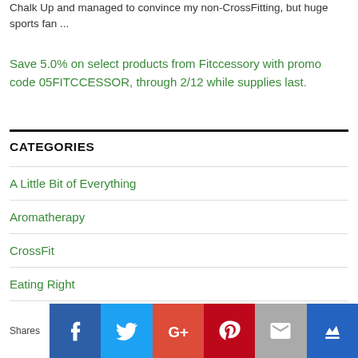Chalk Up and managed to convince my non-CrossFitting, but huge sports fan ...
Save 5.0% on select products from Fitccessory with promo code 05FITCCESSOR, through 2/12 while supplies last.
CATEGORIES
A Little Bit of Everything
Aromatherapy
CrossFit
Eating Right
My Favorite Websites